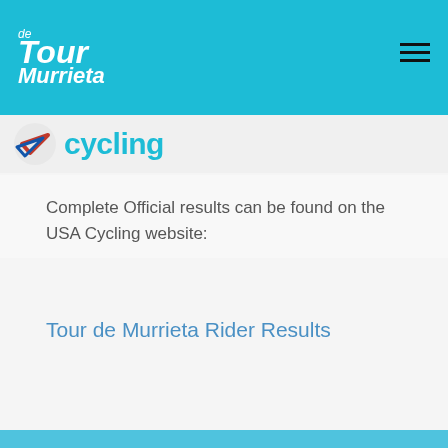de Tour Murrieta
Complete Official results can be found on the USA Cycling website:
Tour de Murrieta Rider Results
TdM  s2ccycling  TdM Kids
© Tour de Murrieta 2022